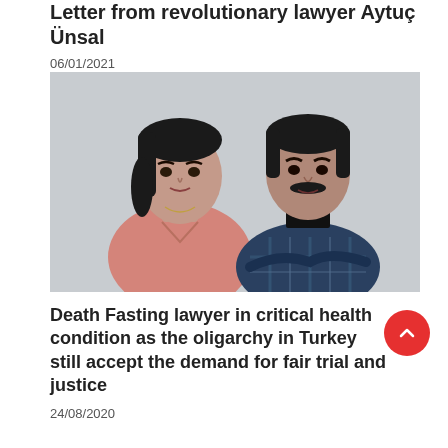Letter from revolutionary lawyer Aytuç Ünsal
06/01/2021
[Figure (photo): Photograph of two people: a woman with dark hair in a pink sweater and a man with a mustache in a plaid shirt, both smiling, standing against a light gray background.]
Death Fasting lawyer in critical health condition as the oligarchy in Turkey still accept the demand for fair trial and justice
24/08/2020